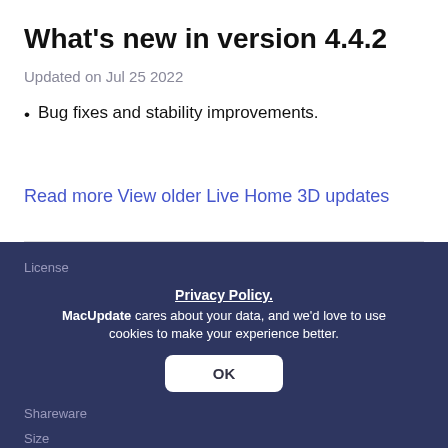What's new in version 4.4.2
Updated on Jul 25 2022
Bug fixes and stability improvements.
Read more
View older Live Home 3D updates
Information
License
Shareware
Size
Privacy Policy.
MacUpdate cares about your data, and we'd love to use cookies to make your experience better.